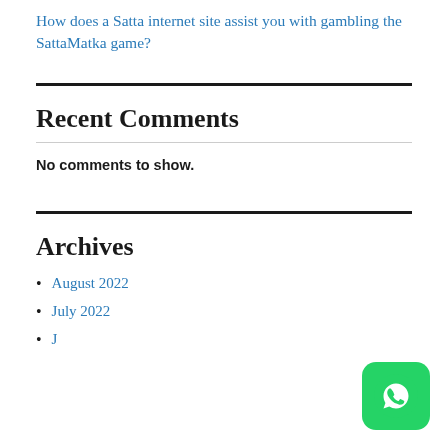How does a Satta internet site assist you with gambling the SattaMatka game?
Recent Comments
No comments to show.
Archives
August 2022
July 2022